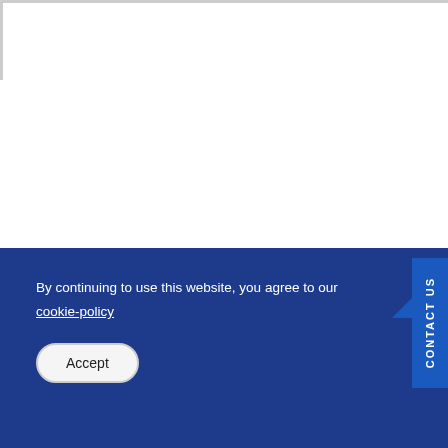By continuing to use this website, you agree to our cookie-policy
Accept